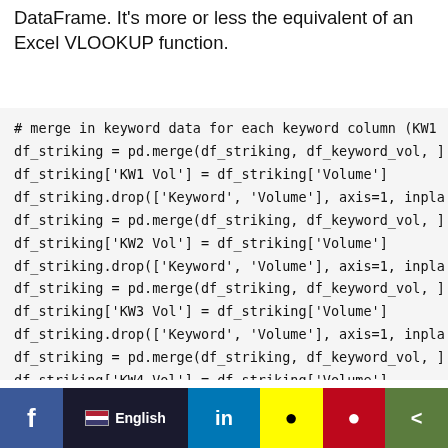DataFrame. It's more or less the equivalent of an Excel VLOOKUP function.
# merge in keyword data for each keyword column (KW1
df_striking = pd.merge(df_striking, df_keyword_vol, [
df_striking['KW1 Vol'] = df_striking['Volume']
df_striking.drop(['Keyword', 'Volume'], axis=1, inpla
df_striking = pd.merge(df_striking, df_keyword_vol, [
df_striking['KW2 Vol'] = df_striking['Volume']
df_striking.drop(['Keyword', 'Volume'], axis=1, inpla
df_striking = pd.merge(df_striking, df_keyword_vol, [
df_striking['KW3 Vol'] = df_striking['Volume']
df_striking.drop(['Keyword', 'Volume'], axis=1, inpla
df_striking = pd.merge(df_striking, df_keyword_vol, [
df_striking['KW4 Vol'] = df_striking['Volume']
df_striking.drop(['Keyword', 'Volume'], axis=1, inpla
df_striking = pd.merge(df_striking, df_keyword_vol, [
df_striking['KW5 Vol'] = df_striking['Volume']
df_striking.drop(['Keyword', 'Volume'], axis=1, inpla